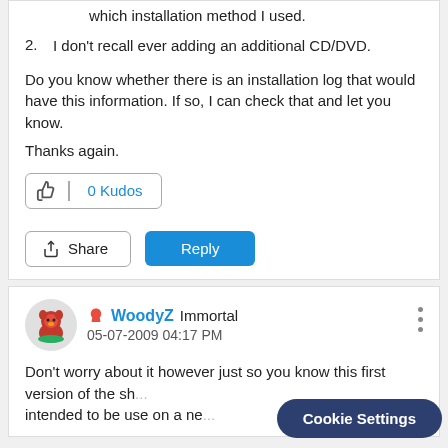which installation method I used.
2. I don't recall ever adding an additional CD/DVD.
Do you know whether there is an installation log that would have this information. If so, I can check that and let you know.
Thanks again.
[Figure (screenshot): 0 Kudos button with thumbs up icon and divider]
[Figure (screenshot): Share button and Reply button (blue)]
[Figure (screenshot): User avatar for WoodyZ]
WoodyZ  Immortal
05-07-2009 04:17 PM
Don't worry about it however just so you know this first version of the sh... intended to be use on a ne...
[Figure (screenshot): Cookie Settings button overlay]